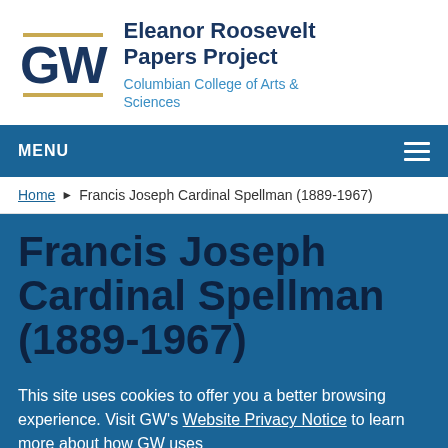[Figure (logo): GW (George Washington University) logo with gold bars above and below 'GW' text in navy blue]
Eleanor Roosevelt Papers Project
Columbian College of Arts & Sciences
MENU
Home ▶ Francis Joseph Cardinal Spellman (1889-1967)
Francis Joseph Cardinal Spellman (1889-1967)
This site uses cookies to offer you a better browsing experience. Visit GW's Website Privacy Notice to learn more about how GW uses